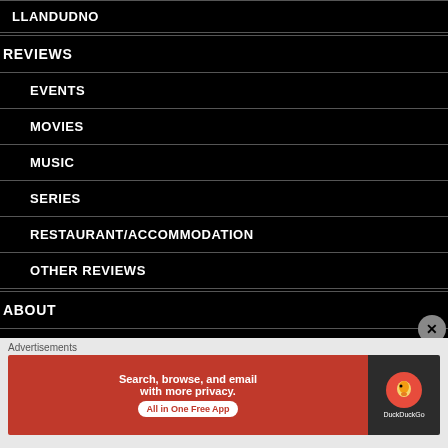LLANDUDNO
REVIEWS
EVENTS
MOVIES
MUSIC
SERIES
RESTAURANT/ACCOMMODATION
OTHER REVIEWS
ABOUT
DONATE
Advertisements
[Figure (screenshot): DuckDuckGo advertisement banner: Search, browse, and email with more privacy. All in One Free App]